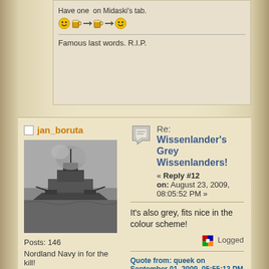Have one on Midaski's tab.
[Figure (illustration): Emoji icons: smiley face, beer mug arrow, beer mug arrow, smiley face]
Famous last words. R.I.P.
jan_boruta
[Figure (photo): Black and white photograph of a warship (Nordland Navy battleship) at sea with smoke/fire visible]
Posts: 146
Nordland Navy in for the kill!
Re: Wissenlander's Grey Wissenlanders!
« Reply #12 on: August 23, 2009, 08:05:52 PM »
It's also grey, fits nice in the colour scheme!
Logged
Quote from: queek on September 01, 2009, 05:55:13 PM
sheer poofy-sleeved bad-assery